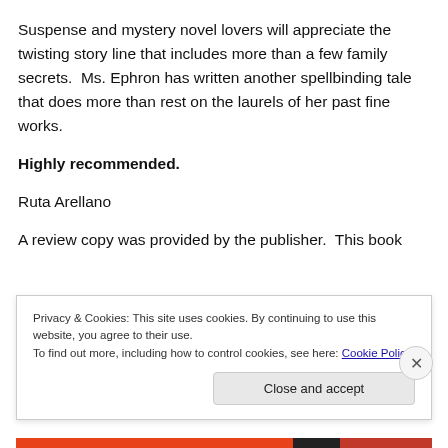Suspense and mystery novel lovers will appreciate the twisting story line that includes more than a few family secrets.  Ms. Ephron has written another spellbinding tale that does more than rest on the laurels of her past fine works.
Highly recommended.
Ruta Arellano
A review copy was provided by the publisher.  This book
Privacy & Cookies: This site uses cookies. By continuing to use this website, you agree to their use.
To find out more, including how to control cookies, see here: Cookie Policy
Close and accept